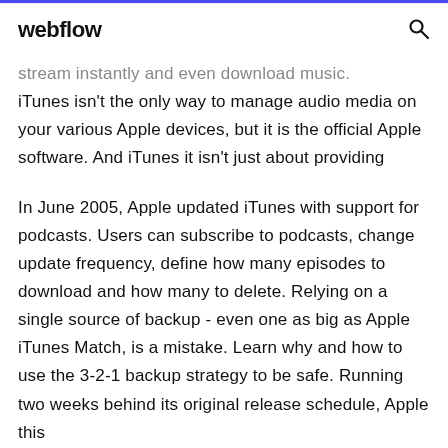webflow
stream instantly and even download music. iTunes isn't the only way to manage audio media on your various Apple devices, but it is the official Apple software. And iTunes it isn't just about providing
In June 2005, Apple updated iTunes with support for podcasts. Users can subscribe to podcasts, change update frequency, define how many episodes to download and how many to delete. Relying on a single source of backup - even one as big as Apple iTunes Match, is a mistake. Learn why and how to use the 3-2-1 backup strategy to be safe. Running two weeks behind its original release schedule, Apple this